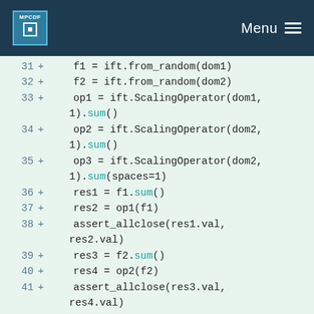MPCDF Menu
[Figure (screenshot): Code diff view showing Python code lines 31-45 with line numbers and + markers on green background. Lines show ift.from_random, ift.ScalingOperator, sum, assert_allclose operations.]